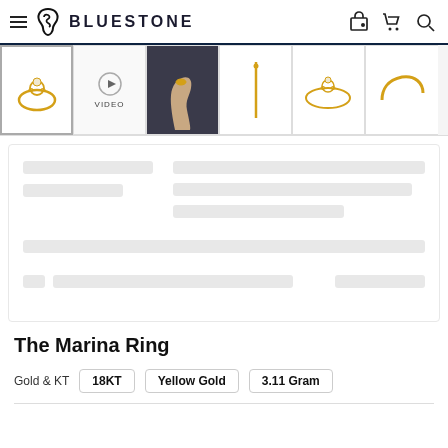BLUESTONE
[Figure (screenshot): Thumbnail strip showing product images for The Marina Ring: ring with pearl, video thumbnail, hand wearing ring, side view, flower ring, and partial ring view]
[Figure (screenshot): Loading skeleton placeholder card with grey bars indicating content loading state]
The Marina Ring
Gold & KT  18KT  Yellow Gold  3.11 Gram